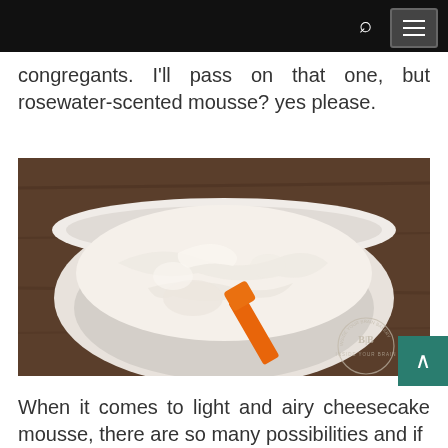congregants. I'll pass on that one, but rosewater-scented mousse? yes please.
[Figure (photo): A white bowl containing light, whipped cheesecake mousse with an orange spatula resting in it, placed on a dark wooden surface. A circular logo watermark is visible in the bottom-right corner of the image.]
When it comes to light and airy cheesecake mousse, there are so many possibilities and if